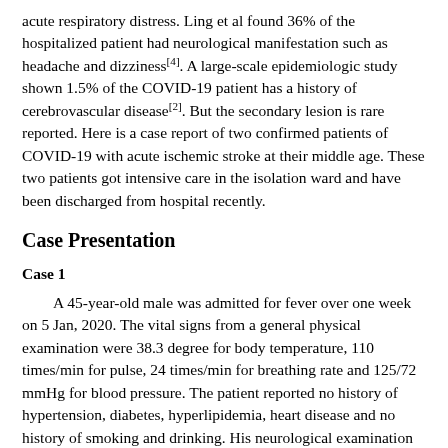acute respiratory distress. Ling et al found 36% of the hospitalized patient had neurological manifestation such as headache and dizziness[4]. A large-scale epidemiologic study shown 1.5% of the COVID-19 patient has a history of cerebrovascular disease[2]. But the secondary lesion is rare reported. Here is a case report of two confirmed patients of COVID-19 with acute ischemic stroke at their middle age. These two patients got intensive care in the isolation ward and have been discharged from hospital recently.
Case Presentation
Case 1
A 45-year-old male was admitted for fever over one week on 5 Jan, 2020. The vital signs from a general physical examination were 38.3 degree for body temperature, 110 times/min for pulse, 24 times/min for breathing rate and 125/72 mmHg for blood pressure. The patient reported no history of hypertension, diabetes, hyperlipidemia, heart disease and no history of smoking and drinking. His neurological examination on admission was normal. The clinical serum laboratory examination showed an increased serum amyloid protein (SAA) of 288.42 mg/L (normal range 0-10mg/L), C reactive protein (CRP) of 25.17 mg/L (normal range 0-10 mg/L), D-dimer of 15.21 mg/L (normal range 0-0.5 mg/L) and fibrinogen (FIB) of 4.97 G/L (normal range 2-4.5 G/L). The level of